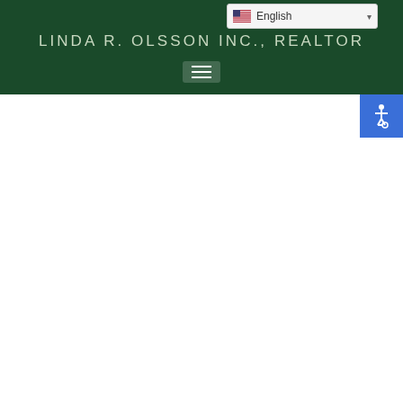LINDA R. OLSSON INC., REALTOR
[Figure (screenshot): Navigation menu hamburger icon (three horizontal white lines) centered in the dark green header bar]
[Figure (illustration): Accessibility (wheelchair) icon in blue square button at top right]